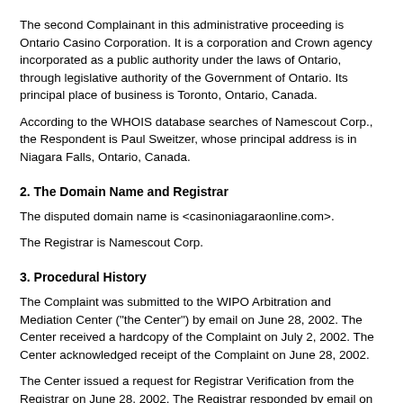The second Complainant in this administrative proceeding is Ontario Casino Corporation. It is a corporation and Crown agency incorporated as a public authority under the laws of Ontario, through legislative authority of the Government of Ontario. Its principal place of business is Toronto, Ontario, Canada.
According to the WHOIS database searches of Namescout Corp., the Respondent is Paul Sweitzer, whose principal address is in Niagara Falls, Ontario, Canada.
2. The Domain Name and Registrar
The disputed domain name is <casinoniagaraonline.com>.
The Registrar is Namescout Corp.
3. Procedural History
The Complaint was submitted to the WIPO Arbitration and Mediation Center ("the Center") by email on June 28, 2002. The Center received a hardcopy of the Complaint on July 2, 2002. The Center acknowledged receipt of the Complaint on June 28, 2002.
The Center issued a request for Registrar Verification from the Registrar on June 28, 2002. The Registrar responded by email on June 28, 2002. Communications from the Respondent were received on June 28, 2002.